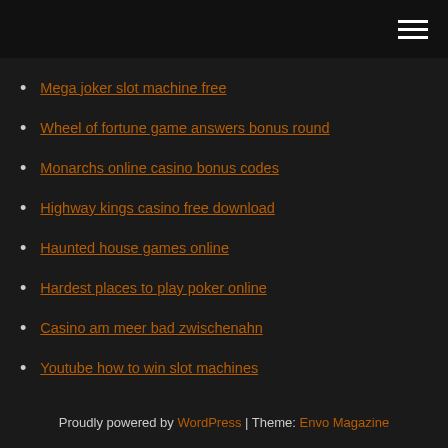[navigation bar with hamburger menu]
Mega joker slot machine free
Wheel of fortune game answers bonus round
Monarchs online casino bonus codes
Highway kings casino free download
Haunted house games online
Hardest places to play poker online
Casino am meer bad zwischenahn
Youtube how to win slot machines
5404 blackjack cove austin tx
On line real money casino with no deposit bonus
How to play the slot machines at 4 winds
Proudly powered by WordPress | Theme: Envo Magazine